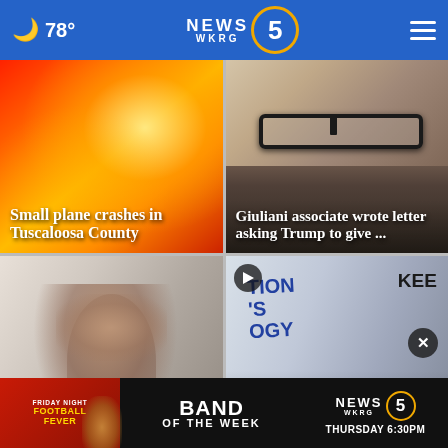78° NEWS 5 WKRG
[Figure (photo): Orange and red fire/light background for small plane crash story]
Small plane crashes in Tuscaloosa County
[Figure (photo): Close-up of elderly man with thick black glasses, Giuliani associate story]
Giuliani associate wrote letter asking Trump to give ...
[Figure (photo): Woman with hand on her head, appearing stressed]
[Figure (photo): Protest signs visible with words NATION, OGY, KEE]
[Figure (advertisement): Friday Night Football Fever - Band of the Week - NEWS 5 WKRG - Thursday 6:30PM banner ad]